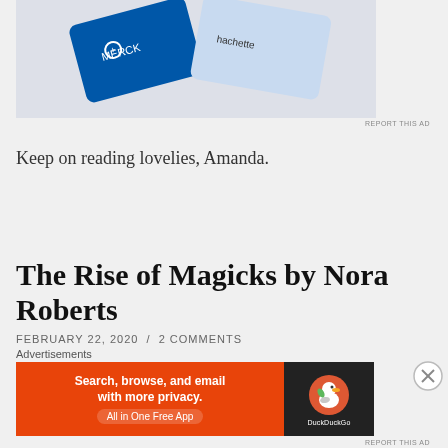[Figure (photo): Top portion of an advertisement banner showing Merck and Hachette branded cards/items on a light background]
REPORT THIS AD
Keep on reading lovelies, Amanda.
The Rise of Magicks by Nora Roberts
FEBRUARY 22, 2020 / 2 COMMENTS
GoodReads Summary:
After the sickness known as the Doom destroyed
Advertisements
[Figure (photo): DuckDuckGo advertisement banner with orange background. Text reads: Search, browse, and email with more privacy. All in One Free App. DuckDuckGo logo on dark background on the right.]
REPORT THIS AD